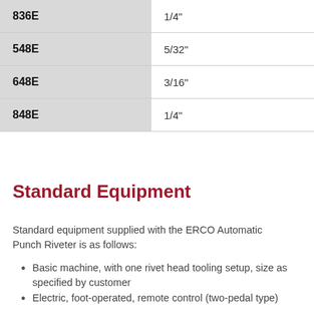| Model | Size |
| --- | --- |
| 836E | 1/4" |
| 548E | 5/32" |
| 648E | 3/16" |
| 848E | 1/4" |
Standard Equipment
Standard equipment supplied with the ERCO Automatic Punch Riveter is as follows:
Basic machine, with one rivet head tooling setup, size as specified by customer
Electric, foot-operated, remote control (two-pedal type)